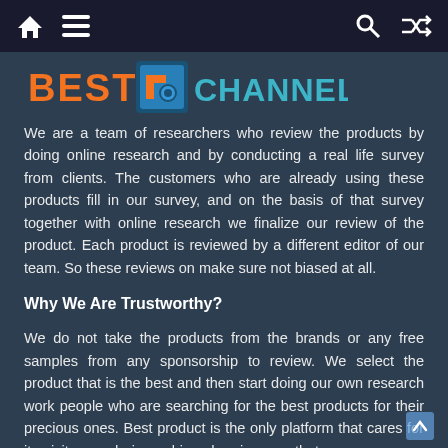[Navigation bar with home icon, menu icon, search icon, shuffle icon]
[Figure (logo): Best Channel logo with orange and blue styling showing 'BEST' in orange, a blue channel icon, and 'CHANNEL' in blue-green]
We are a team of researchers who review the products by doing online research and by conducting a real life survey from clients. The customers who are already using these products fill in our survey, and on the basis of that survey together with online research we finalize our review of the product. Each product is reviewed by a different editor of our team. So these reviews on make sure not biased at all.
Why We Are Trustworthy?
We do not take the products from the brands or any free samples from any sponsorship to review. We select the product that is the best and then start doing our own research work people who are searching for the best products for their precious ones. Best product is the only platform that cares for its visitors and give unbiased reviews so that consumers can choose best product within their budgets and that is too without doing a stressful research and online comparison.